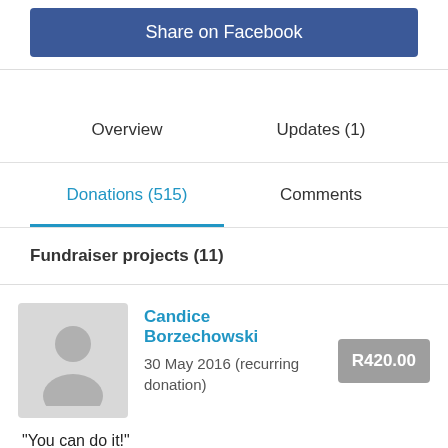Share on Facebook
Overview
Updates (1)
Donations (515)
Comments
Fundraiser projects (11)
Candice Borzechowski
30 May 2016 (recurring donation)
R420.00
"You can do it!"